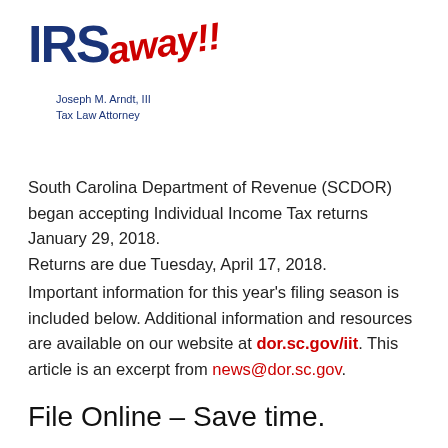[Figure (logo): IRS Away!! logo with 'Joseph M. Arndt, III Tax Law Attorney' text in navy blue, and 'away!!' in red italic]
South Carolina Department of Revenue (SCDOR) began accepting Individual Income Tax returns January 29, 2018.
Returns are due Tuesday, April 17, 2018.
Important information for this year's filing season is included below. Additional information and resources are available on our website at dor.sc.gov/iit. This article is an excerpt from news@dor.sc.gov.
File Online – Save time.